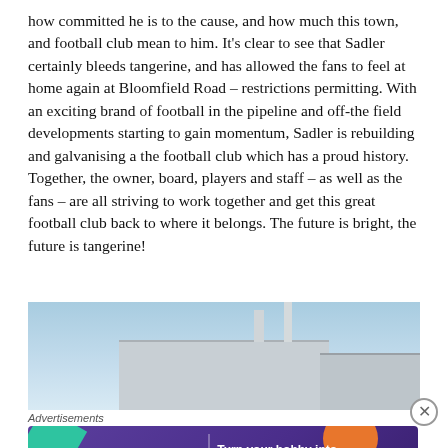how committed he is to the cause, and how much this town, and football club mean to him. It's clear to see that Sadler certainly bleeds tangerine, and has allowed the fans to feel at home again at Bloomfield Road – restrictions permitting. With an exciting brand of football in the pipeline and off-the field developments starting to gain momentum, Sadler is rebuilding and galvanising a the football club which has a proud history. Together, the owner, board, players and staff – as well as the fans – are all striving to work together and get this great football club back to where it belongs. The future is bright, the future is tangerine!
[Figure (photo): Photo of a stadium building exterior with light blue sky, showing a grey/white building roof line and two chimneys or poles.]
Advertisements
[Figure (other): WooCommerce advertisement banner with purple background, teal and orange decorative shapes, WooCommerce logo, and text 'Turn your hobby into a business in 8 steps'.]